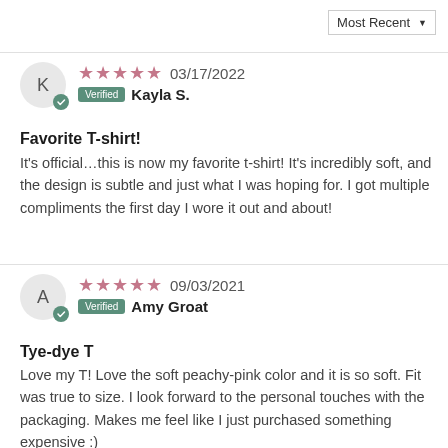Most Recent ▼
★★★★★ 03/17/2022 Verified Kayla S.
Favorite T-shirt!
It's official…this is now my favorite t-shirt! It's incredibly soft, and the design is subtle and just what I was hoping for. I got multiple compliments the first day I wore it out and about!
★★★★★ 09/03/2021 Verified Amy Groat
Tye-dye T
Love my T! Love the soft peachy-pink color and it is so soft. Fit was true to size. I look forward to the personal touches with the packaging. Makes me feel like I just purchased something expensive :)